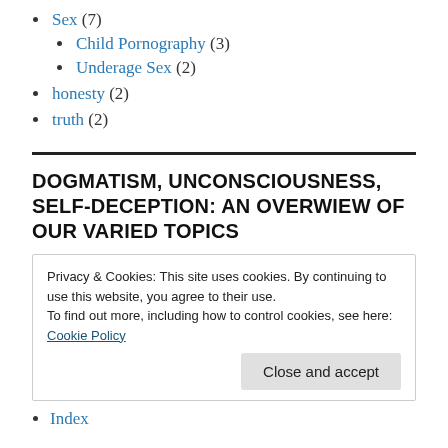Sex (7)
Child Pornography (3)
Underage Sex (2)
honesty (2)
truth (2)
DOGMATISM, UNCONSCIOUSNESS, SELF-DECEPTION: AN OVERWIEW OF OUR VARIED TOPICS
Privacy & Cookies: This site uses cookies. By continuing to use this website, you agree to their use.
To find out more, including how to control cookies, see here:
Cookie Policy
Close and accept
Index